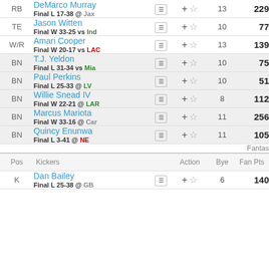| Pos | Player |  | Action | Bye | Fan Pts | % |
| --- | --- | --- | --- | --- | --- | --- |
| RB | DeMarco Murray / Final L 17-38 @ Jax |  | + ☆ | 13 | 229 |  |
| TE | Jason Witten / Final W 33-25 vs Ind |  | + ☆ | 10 | 77 |  |
| W/R | Amari Cooper / Final W 20-17 vs LAC |  | + ☆ | 13 | 139 |  |
| BN | T.J. Yeldon / Final L 31-34 vs Mia |  | + ☆ | 10 | 75 |  |
| BN | Paul Perkins / Final L 25-33 @ LV |  | + ☆ | 10 | 51 |  |
| BN | Willie Snead IV / Final W 22-21 @ LAR |  | + ☆ | 8 | 112 |  |
| BN | Marcus Mariota / Final W 33-16 @ Car |  | + ☆ | 11 | 256 |  |
| BN | Quincy Enunwa / Final L 3-41 @ NE |  | + ☆ | 11 | 105 |  |
Fantas
| Pos | Kickers |  | Action | Bye | Fan Pts | % |
| --- | --- | --- | --- | --- | --- | --- |
| K | Dan Bailey / Final L 25-38 @ GB |  | + ☆ | 6 | 140 |  |